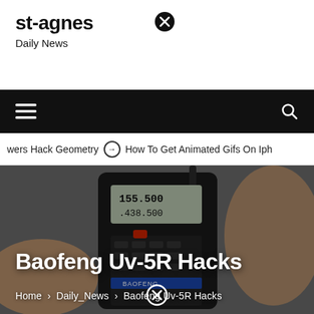st-agnes
Daily News
[Figure (screenshot): Website navigation bar with hamburger menu on left and search icon on right, black background]
wers Hack Geometry  ➤  How To Get Animated Gifs On Iph
[Figure (photo): A hand holding a Baofeng UV-5R dual-band handheld radio/walkie-talkie showing frequencies 155.500 and 438.500 on the LCD display]
Baofeng Uv-5R Hacks
Home > Daily_News > Baofeng Uv-5R Hacks